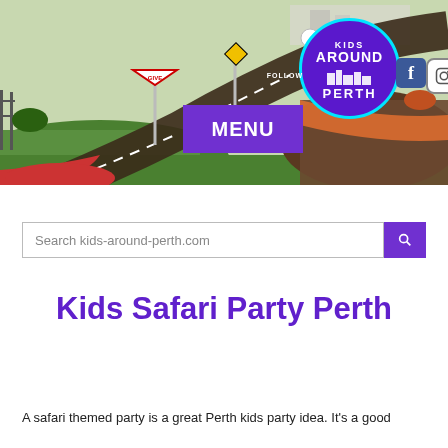[Figure (photo): Aerial/ground view of a children's road/driving track with road markings, signs, green landscaping, and colorful surfaces. A purple 'MENU' button overlay and a 'Kids Around Perth' circular logo with Facebook and Instagram icons are overlaid on the image.]
Search kids-around-perth.com
Kids Safari Party Perth
A safari themed party is a great Perth kids party idea. It's a good